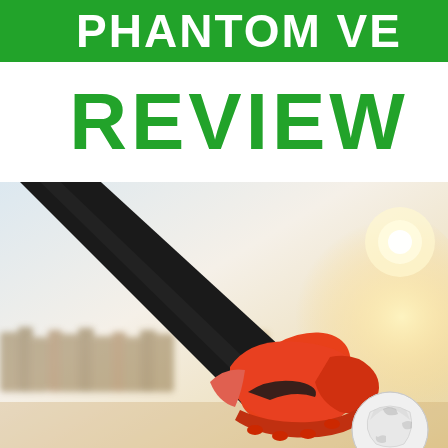PHANTOM VE...
REVIEW
[Figure (photo): A soccer player wearing black leggings and orange/red Nike cleats kicking a white soccer ball on an outdoor field, photographed from below against a bright sky with blurred trees in background.]